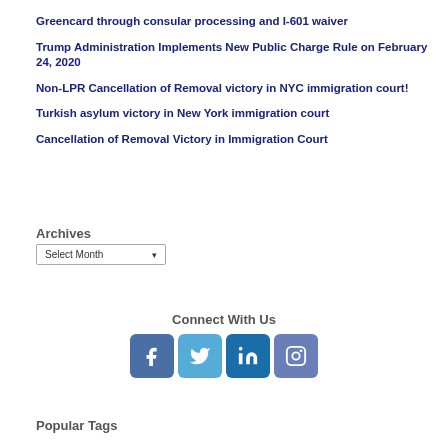Greencard through consular processing and I-601 waiver
Trump Administration Implements New Public Charge Rule on February 24, 2020
Non-LPR Cancellation of Removal victory in NYC immigration court!
Turkish asylum victory in New York immigration court
Cancellation of Removal Victory in Immigration Court
Archives
Select Month
Connect With Us
[Figure (infographic): Social media icons: Facebook, Twitter, LinkedIn, Instagram]
Popular Tags